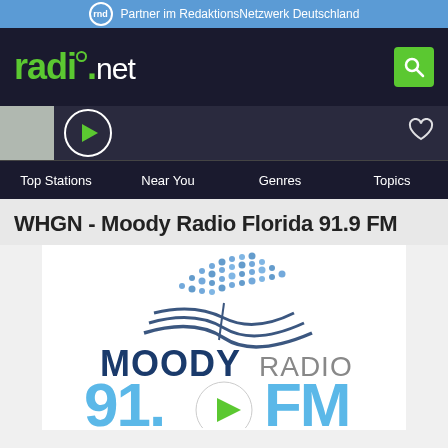Partner im RedaktionsNetzwerk Deutschland
[Figure (logo): radio.net logo in green on dark background with search icon]
[Figure (screenshot): Player bar with play button and heart icon]
Top Stations  Near You  Genres  Topics
WHGN - Moody Radio Florida 91.9 FM
[Figure (logo): Moody Radio 91.9 FM logo with play button overlay]